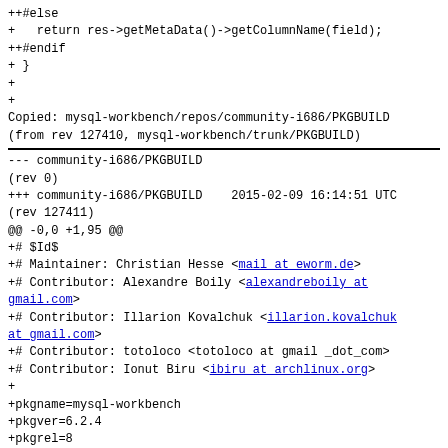++#else
+   return res->getMetaData()->getColumnName(field);
++#endif
+ }
+
+
Copied: mysql-workbench/repos/community-i686/PKGBUILD
(from rev 127410, mysql-workbench/trunk/PKGBUILD)
--- community-i686/PKGBUILD
(rev 0)
+++ community-i686/PKGBUILD    2015-02-09 16:14:51 UTC
(rev 127411)
@@ -0,0 +1,95 @@
+# $Id$
+# Maintainer: Christian Hesse <mail at eworm.de>
+# Contributor: Alexandre Boily <alexandreboily at gmail.com>
+# Contributor: Illarion Kovalchuk <illarion.kovalchuk at gmail.com>
+# Contributor: totoloco <totoloco at gmail _dot_com>
+# Contributor: Ionut Biru <ibiru at archlinux.org>
+
+pkgname=mysql-workbench
+pkgver=6.2.4
+pkgrel=8
+pkgdesc='A cross-platform, visual database design tool developed by MySQL'
+arch=('i686' 'x86_64')